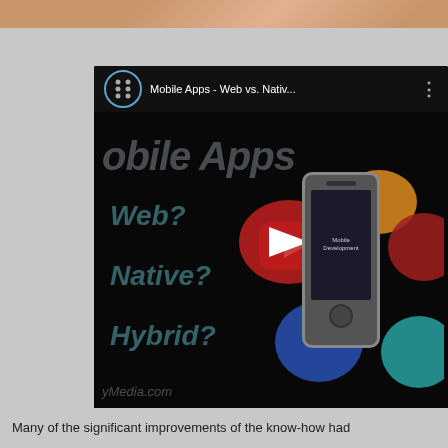[Figure (screenshot): A YouTube video thumbnail/preview showing 'Mobile Apps - Web vs. Nativ...' with a dark background, text overlays reading 'obile Apps', 'Web?', 'Native?', 'Hybrid?', a YouTube play button, a mobile phone graphic, and colorful app icons/bubbles.]
Many of the significant improvements of the know-how had